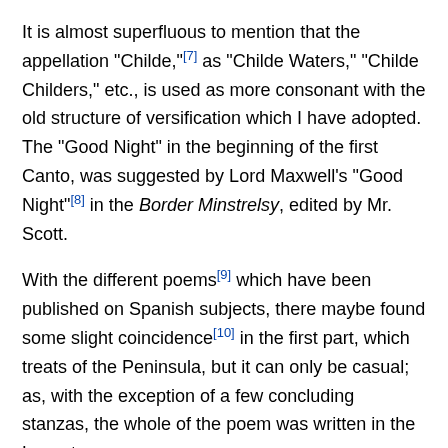It is almost superfluous to mention that the appellation "Childe,"[7] as "Childe Waters," "Childe Childers," etc., is used as more consonant with the old structure of versification which I have adopted. The "Good Night" in the beginning of the first Canto, was suggested by Lord Maxwell's "Good Night"[8] in the Border Minstrelsy, edited by Mr. Scott.
With the different poems[9] which have been published on Spanish subjects, there maybe found some slight coincidence[10] in the first part, which treats of the Peninsula, but it can only be casual; as, with the exception of a few concluding stanzas, the whole of the poem was written in the Levant.
The stanza of Spenser, according to one of our most successful poets, admits of every variety. Dr. Beattie makes the following observation—